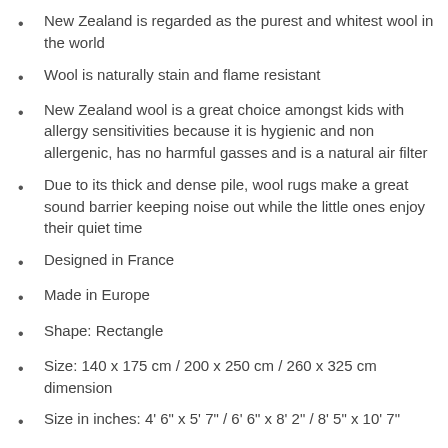New Zealand is regarded as the purest and whitest wool in the world
Wool is naturally stain and flame resistant
New Zealand wool is a great choice amongst kids with allergy sensitivities because it is hygienic and non allergenic, has no harmful gasses and is a natural air filter
Due to its thick and dense pile, wool rugs make a great sound barrier keeping noise out while the little ones enjoy their quiet time
Designed in France
Made in Europe
Shape: Rectangle
Size: 140 x 175 cm / 200 x 250 cm / 260 x 325 cm dimension
Size in inches: 4' 6" x 5' 7" / 6' 6" x 8' 2" / 8' 5" x 10' 7"
Location: Indoor